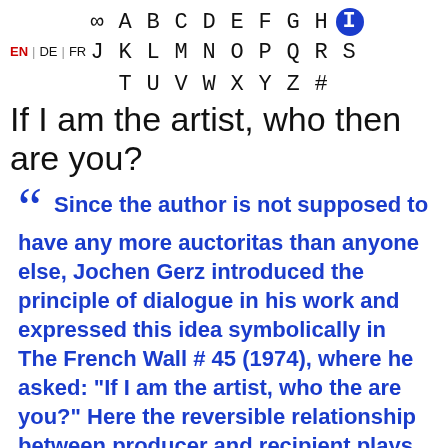∞ A B C D E F G H I J K L M N O P Q R S T U V W X Y Z #
EN | DE | FR
If I am the artist, who then are you?
Since the author is not supposed to have any more auctoritas than anyone else, Jochen Gerz introduced the principle of dialogue in his work and expressed this idea symbolically in The French Wall # 45 (1974), where he asked: "If I am the artist, who the are you?" Here the reversible relationship between producer and recipient plays a central role, and Gerz' work has continued to explore and challenge